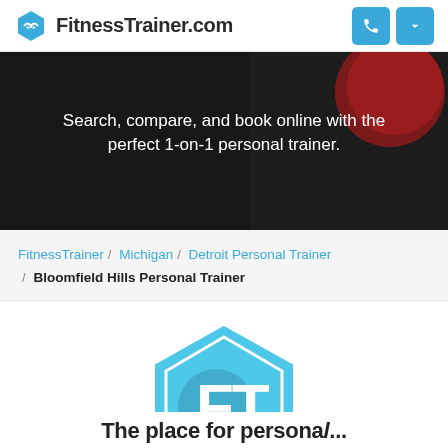FitnessTrainer.com
[Figure (illustration): Dark gym floor hero banner with red kettlebell in upper right]
Search, compare, and book online with the perfect 1-on-1 personal trainer.
FitnessTrainer / Michigan / Detroit Personal Trainer / Bloomfield Hills Personal Trainer
[Figure (logo): FT Guarantee badge - hexagonal light blue badge with FT letters and GUARANTEE text below]
The place for personal...